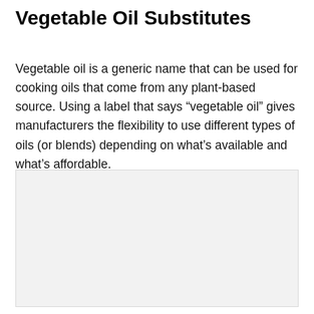Vegetable Oil Substitutes
Vegetable oil is a generic name that can be used for cooking oils that come from any plant-based source. Using a label that says “vegetable oil” gives manufacturers the flexibility to use different types of oils (or blends) depending on what’s available and what’s affordable.
[Figure (photo): Light gray placeholder image area below the text content]